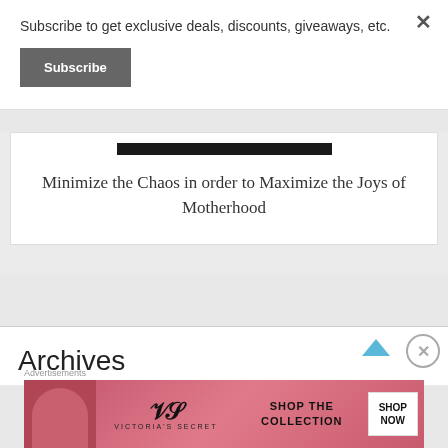Subscribe to get exclusive deals, discounts, giveaways, etc.
Subscribe
[Figure (screenshot): Partially visible article card with dark image bar and title text]
Minimize the Chaos in order to Maximize the Joys of Motherhood
Archives
Advertisements
[Figure (screenshot): Victoria's Secret advertisement banner with model, logo, 'SHOP THE COLLECTION' text, and 'SHOP NOW' button]